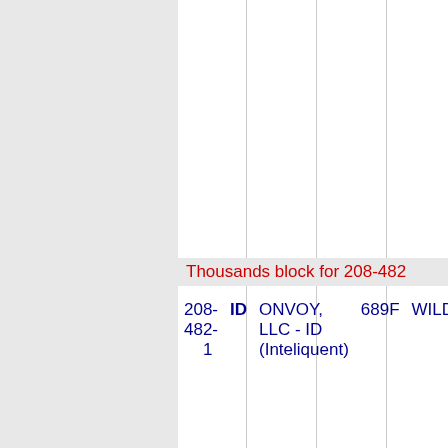Thousands block for 208-482
|  | ID | ONVOY, LLC - ID (Inteliquent) | 689F | WILDER |
| --- | --- | --- | --- | --- |
| 208-482-1 | ID | ONVOY, LLC - ID (Inteliquent) | 689F | WILDER |